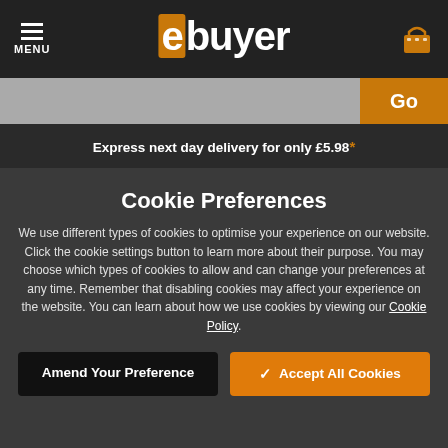ebuyer — MENU
Go
Express next day delivery for only £5.98*
< Labels
Cookie Preferences
We use different types of cookies to optimise your experience on our website. Click the cookie settings button to learn more about their purpose. You may choose which types of cookies to allow and can change your preferences at any time. Remember that disabling cookies may affect your experience on the website. You can learn about how we use cookies by viewing our Cookie Policy.
Amend Your Preference
✓ Accept All Cookies